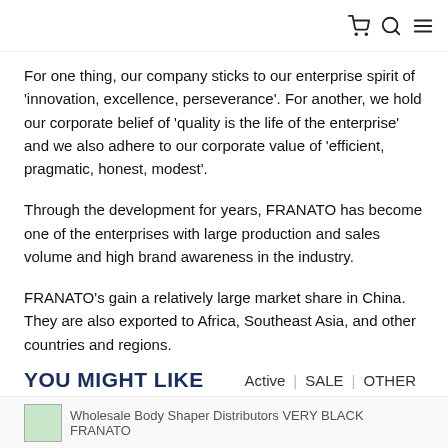[cart icon] [search icon] [menu icon]
For one thing, our company sticks to our enterprise spirit of 'innovation, excellence, perseverance'. For another, we hold our corporate belief of 'quality is the life of the enterprise' and we also adhere to our corporate value of 'efficient, pragmatic, honest, modest'.
Through the development for years, FRANATO has become one of the enterprises with large production and sales volume and high brand awareness in the industry.
FRANATO's gain a relatively large market share in China. They are also exported to Africa, Southeast Asia, and other countries and regions.
YOU MIGHT LIKE
Active | SALE | OTHER
[Figure (photo): Wholesale Body Shaper Distributors VERY BLACK FRANATO product image thumbnail]